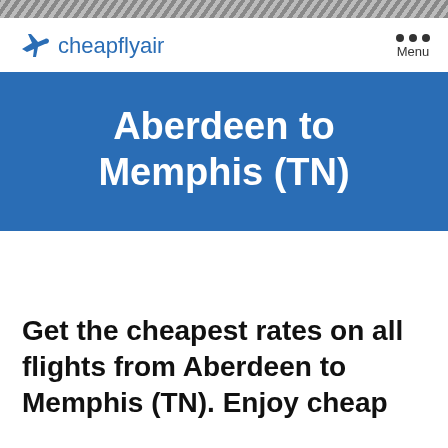cheapflyair
Aberdeen to Memphis (TN)
Get the cheapest rates on all flights from Aberdeen to Memphis (TN). Enjoy cheap